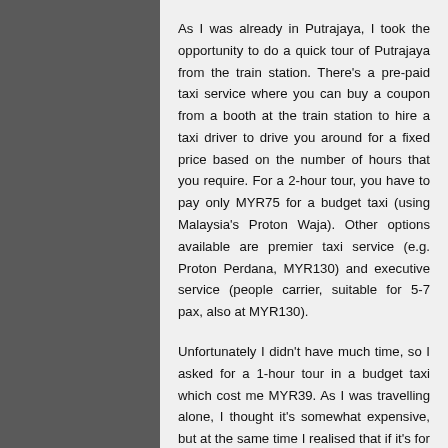As I was already in Putrajaya, I took the opportunity to do a quick tour of Putrajaya from the train station. There's a pre-paid taxi service where you can buy a coupon from a booth at the train station to hire a taxi driver to drive you around for a fixed price based on the number of hours that you require. For a 2-hour tour, you have to pay only MYR75 for a budget taxi (using Malaysia's Proton Waja). Other options available are premier taxi service (e.g. Proton Perdana, MYR130) and executive service (people carrier, suitable for 5-7 pax, also at MYR130).
Unfortunately I didn't have much time, so I asked for a 1-hour tour in a budget taxi which cost me MYR39. As I was travelling alone, I thought it's somewhat expensive, but at the same time I realised that if it's for 2 people or more, the rates quoted are quite reasonable.